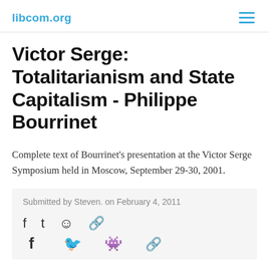libcom.org
Victor Serge: Totalitarianism and State Capitalism - Philippe Bourrinet
Complete text of Bourrinet’s presentation at the Victor Serge Symposium held in Moscow, September 29-30, 2001.
Submitted by Steven. on February 4, 2011
[Figure (other): Social sharing icons: Facebook, Twitter, Reddit, Link/copy]